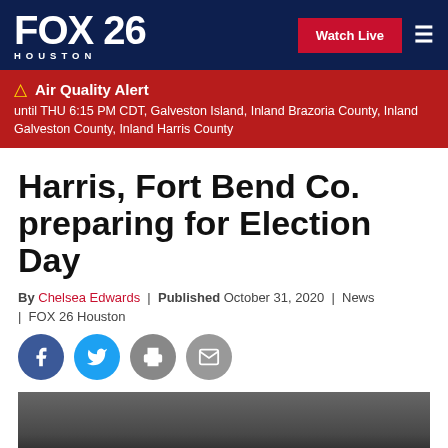FOX 26 HOUSTON | Watch Live
Air Quality Alert - until THU 6:15 PM CDT, Galveston Island, Inland Brazoria County, Inland Galveston County, Inland Harris County
Harris, Fort Bend Co. preparing for Election Day
By Chelsea Edwards | Published October 31, 2020 | News | FOX 26 Houston
[Figure (screenshot): Social share buttons: Facebook, Twitter, Print, Email]
[Figure (screenshot): Video thumbnail with caption: Harris, Fort Bend County see record breaking early voting numbers]